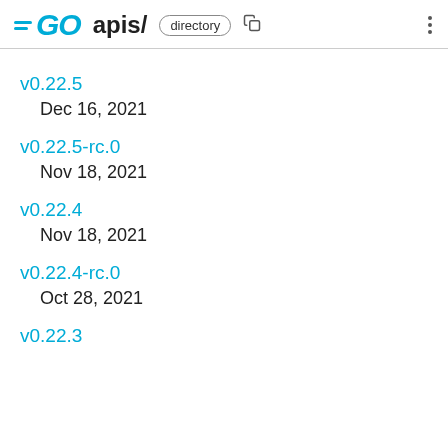GO apis/ directory
v0.22.5
Dec 16, 2021
v0.22.5-rc.0
Nov 18, 2021
v0.22.4
Nov 18, 2021
v0.22.4-rc.0
Oct 28, 2021
v0.22.3